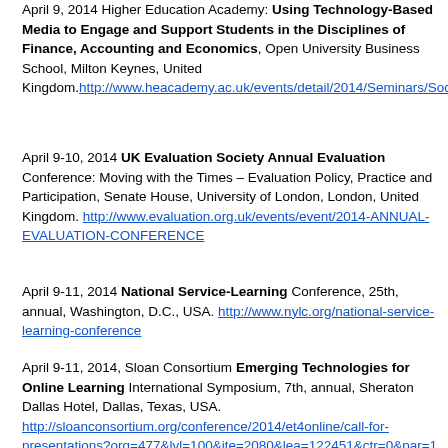April 9, 2014 Higher Education Academy: Using Technology-Based Media to Engage and Support Students in the Disciplines of Finance, Accounting and Economics, Open University Business School, Milton Keynes, United Kingdom. http://www.heacademy.ac.uk/events/detail/2014/Seminars/Soci...
April 9-10, 2014 UK Evaluation Society Annual Evaluation Conference: Moving with the Times – Evaluation Policy, Practice and Participation, Senate House, University of London, London, United Kingdom. http://www.evaluation.org.uk/events/event/2014-ANNUAL-EVALUATION-CONFERENCE
April 9-11, 2014 National Service-Learning Conference, 25th, annual, Washington, D.C., USA. http://www.nylc.org/national-service-learning-conference
April 9-11, 2014, Sloan Consortium Emerging Technologies for Online Learning International Symposium, 7th, annual, Sheraton Dallas Hotel, Dallas, Texas, USA. http://sloanconsortium.org/conference/2014/et4online/call-for-presentations?org=477&lvl=100&ite=2080&lea=122451&ctr=0&par=1